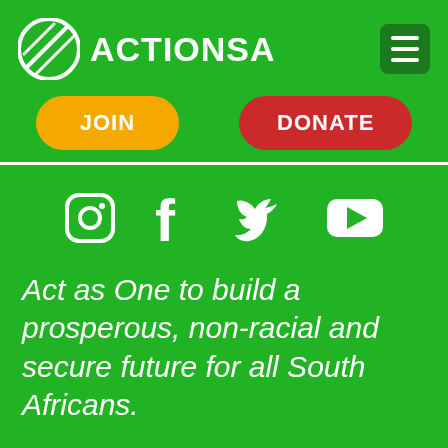[Figure (logo): ActionSA logo with circular icon and ACTIONSA text in white]
[Figure (other): Hamburger menu button (three horizontal white lines on dark green background)]
[Figure (other): JOIN button in orange rounded pill shape]
[Figure (other): DONATE button in red rounded pill shape]
[Figure (other): Social media icons row: Instagram, Facebook, Twitter, YouTube in white on green background]
Act as One to build a prosperous, non-racial and secure future for all South Africans.